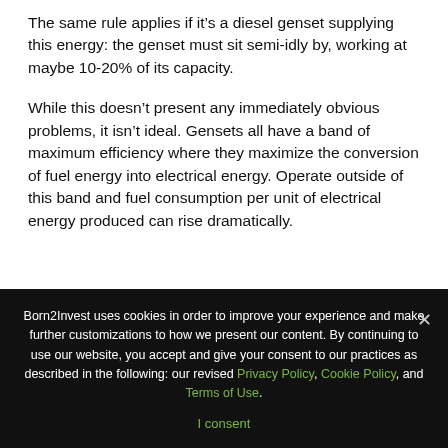The same rule applies if it's a diesel genset supplying this energy: the genset must sit semi-idly by, working at maybe 10-20% of its capacity.
While this doesn't present any immediately obvious problems, it isn't ideal. Gensets all have a band of maximum efficiency where they maximize the conversion of fuel energy into electrical energy. Operate outside of this band and fuel consumption per unit of electrical energy produced can rise dramatically.
[Figure (continuous-plot): Partial view of an Efficiency Curve chart showing y-axis label '35' and a grid area; the chart is cut off at the bottom of the visible page area.]
Born2Invest uses cookies in order to improve your experience and make further customizations to how we present our content. By continuing to use our website, you accept and give your consent to our practices as described in the following: our revised Privacy Policy, Cookie Policy, and Terms of Use. I consent